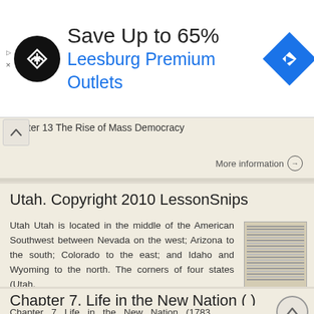[Figure (screenshot): Advertisement banner: black circular logo with arrow symbol, 'Save Up to 65%' text, 'Leesburg Premium Outlets' in blue, blue diamond navigation icon]
ter 13 The Rise of Mass Democracy
More information →
Utah. Copyright 2010 LessonSnips
Utah Utah is located in the middle of the American Southwest between Nevada on the west; Arizona to the south; Colorado to the east; and Idaho and Wyoming to the north. The corners of four states (Utah,
More information →
Chapter 7. Life in the New Nation ( )
Chapter 7 Life in the New Nation (1783